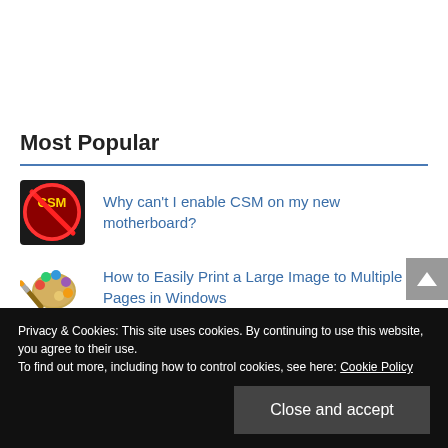Most Popular
Why can't I enable CSM on my new motherboard?
How to Easily Print a Large Image to Multiple Pages in Windows
Privacy & Cookies: This site uses cookies. By continuing to use this website, you agree to their use.
To find out more, including how to control cookies, see here: Cookie Policy
Close and accept